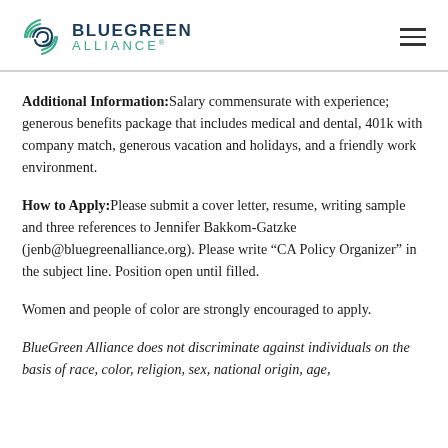BLUEGREEN ALLIANCE
Additional Information: Salary commensurate with experience; generous benefits package that includes medical and dental, 401k with company match, generous vacation and holidays, and a friendly work environment.
How to Apply: Please submit a cover letter, resume, writing sample and three references to Jennifer Bakkom-Gatzke (jenb@bluegreenalliance.org). Please write “CA Policy Organizer” in the subject line. Position open until filled.
Women and people of color are strongly encouraged to apply.
BlueGreen Alliance does not discriminate against individuals on the basis of race, color, religion, sex, national origin, age,